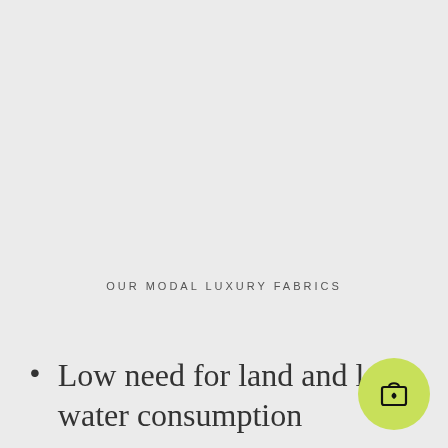OUR MODAL LUXURY FABRICS
Low need for land and low water consumption